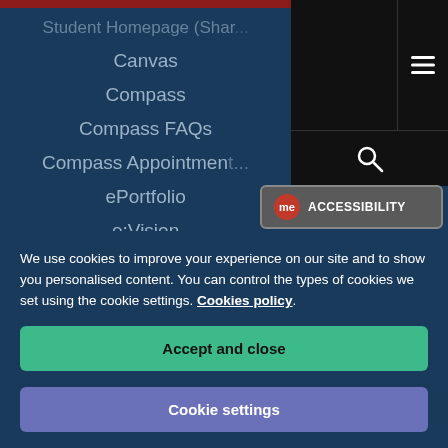[Figure (screenshot): University website navigation screenshot showing menu items on dark blue background with logo, hamburger menu, search icon, and accessibility widget]
Student Homepage (Shar...
Canvas
Compass
Compass FAQs
Compass Appointments
ePortfolio
e:Vision
Selfcare
Student Email (Office 365)
We use cookies to improve your experience on our site and to show you personalised content. You can control the types of cookies we set using the cookie settings. Cookies policy
Accept and close
Cookie settings